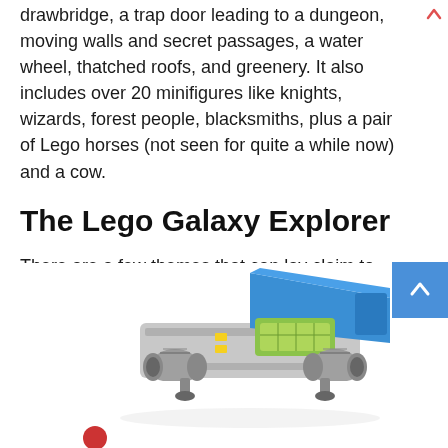drawbridge, a trap door leading to a dungeon, moving walls and secret passages, a water wheel, thatched roofs, and greenery. It also includes over 20 minifigures like knights, wizards, forest people, blacksmiths, plus a pair of Lego horses (not seen for quite a while now) and a cow.
The Lego Galaxy Explorer
There are a few themes that can lay claim to the brand's enduring popularity, but what really made Lego the iconic toy it is today was the space theme, particularly the 318-piece Galaxy Explorer set that was released in 1979. It was massive for its time, and packed full of features that had never been seen in Lego sets before.
[Figure (photo): Photo of a Lego Galaxy Explorer space ship set, showing a blue and grey spacecraft with cylindrical engines on the sides, a blue wing/cockpit area, and yellow/green details, partially visible at the bottom of the page.]